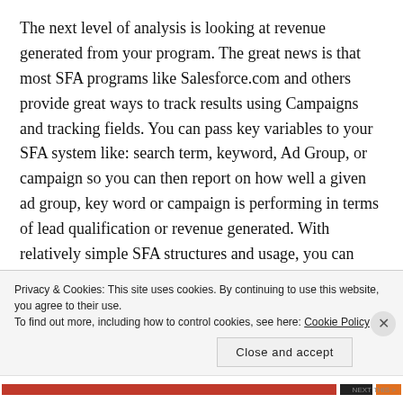The next level of analysis is looking at revenue generated from your program.  The great news is that most SFA programs like Salesforce.com and others provide great ways to track results using Campaigns and tracking fields. You can pass key variables to your SFA system like: search term, keyword, Ad Group, or campaign so you can then report on how well a given ad group, key word or campaign is performing in terms of lead qualification or revenue generated.  With relatively simple SFA structures and usage, you can track the progress of these lead throughout the sales process.
Privacy & Cookies: This site uses cookies. By continuing to use this website, you agree to their use.
To find out more, including how to control cookies, see here: Cookie Policy
Close and accept